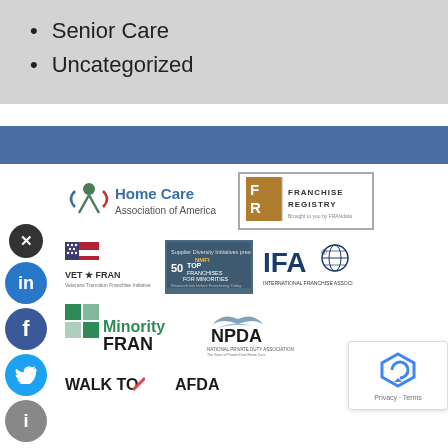Senior Care
Uncategorized
[Figure (logo): Home Care Association of America logo]
[Figure (logo): Franchise Registry logo - FR, brought to you by FRANdata]
[Figure (logo): VET FRAN - Veterans Transition Franchise Initiative logo]
[Figure (logo): NMFI 50 Top Franchises For Minorities logo]
[Figure (logo): IFA International Franchise Association logo]
[Figure (logo): Minority FRAN logo]
[Figure (logo): NPDA National Private Duty Association logo]
[Figure (logo): WALK TO logo (partial)]
[Figure (logo): AFDA logo (partial)]